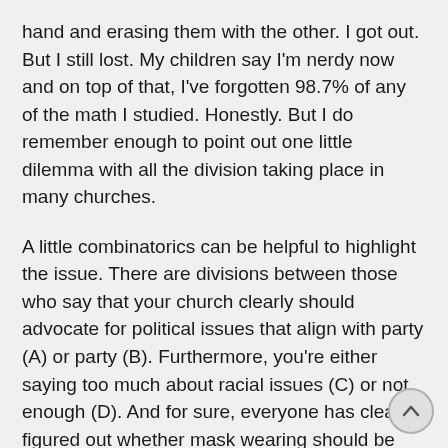hand and erasing them with the other. I got out. But I still lost. My children say I'm nerdy now and on top of that, I've forgotten 98.7% of any of the math I studied. Honestly. But I do remember enough to point out one little dilemma with all the division taking place in many churches.
A little combinatorics can be helpful to highlight the issue. There are divisions between those who say that your church clearly should advocate for political issues that align with party (A) or party (B). Furthermore, you're either saying too much about racial issues (C) or not enough (D). And for sure, everyone has clearly figured out whether mask wearing should be required (E) or it's the biggest farce since Milli Vanilli (F).  (Got to reference a band like that for the illustration in order to maintain the minimal level of coolness.) But when you do the combinations, you quickly come up with 8 different factions (ACE, ADE, …BDF).